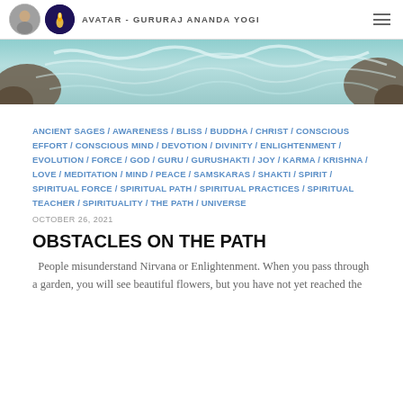AVATAR - GURURAJ ANANDA YOGI
[Figure (photo): Hero banner image of rushing turquoise water/rapids over rocks]
ANCIENT SAGES / AWARENESS / BLISS / BUDDHA / CHRIST / CONSCIOUS EFFORT / CONSCIOUS MIND / DEVOTION / DIVINITY / ENLIGHTENMENT / EVOLUTION / FORCE / GOD / GURU / GURUSHAKTI / JOY / KARMA / KRISHNA / LOVE / MEDITATION / MIND / PEACE / SAMSKARAS / SHAKTI / SPIRIT / SPIRITUAL FORCE / SPIRITUAL PATH / SPIRITUAL PRACTICES / SPIRITUAL TEACHER / SPIRITUALITY / THE PATH / UNIVERSE
OCTOBER 26, 2021
OBSTACLES ON THE PATH
People misunderstand Nirvana or Enlightenment. When you pass through a garden, you will see beautiful flowers, but you have not yet reached the